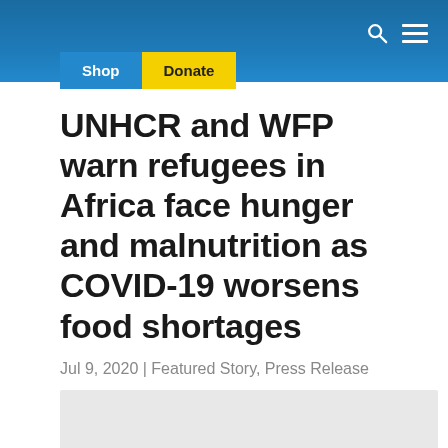Shop | Donate
UNHCR and WFP warn refugees in Africa face hunger and malnutrition as COVID-19 worsens food shortages
Jul 9, 2020 | Featured Story, Press Release
[Figure (photo): Grey placeholder image at the bottom of the page]